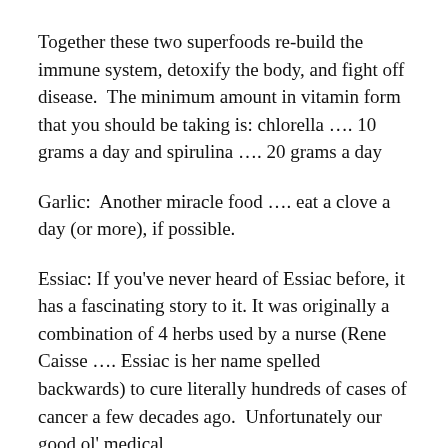Together these two superfoods re-build the immune system, detoxify the body, and fight off disease.  The minimum amount in vitamin form that you should be taking is: chlorella …. 10 grams a day and spirulina …. 20 grams a day
Garlic:  Another miracle food …. eat a clove a day (or more), if possible.
Essiac: If you've never heard of Essiac before, it has a fascinating story to it. It was originally a combination of 4 herbs used by a nurse (Rene Caisse …. Essiac is her name spelled backwards) to cure literally hundreds of cases of cancer a few decades ago.  Unfortunately our good ol' medical